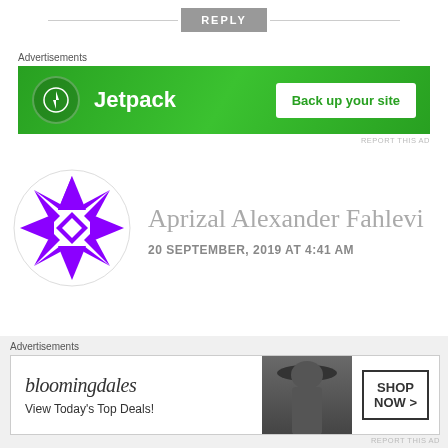REPLY
[Figure (screenshot): Jetpack advertisement banner with green background: Jetpack logo and 'Back up your site' button]
Advertisements
Aprizal Alexander Fahlevi
20 SEPTEMBER, 2019 AT 4:41 AM
What a post to celebrate your birthday!
HAPPY BIRTHDAY ARTUR!!! Thx for every
[Figure (screenshot): Bloomingdale's advertisement banner: 'View Today's Top Deals!' with SHOP NOW button]